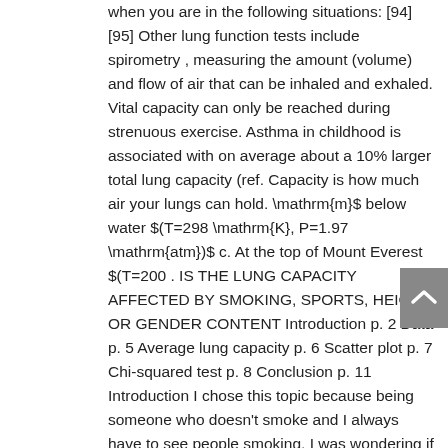when you are in the following situations: [94] [95] Other lung function tests include spirometry , measuring the amount (volume) and flow of air that can be inhaled and exhaled. Vital capacity can only be reached during strenuous exercise. Asthma in childhood is associated with on average about a 10% larger total lung capacity (ref. Capacity is how much air your lungs can hold. \mathrm{m}$ below water $(T=298 \mathrm{K}, P=1.97 \mathrm{atm})$ c. At the top of Mount Everest $(T=200 . IS THE LUNG CAPACITY AFFECTED BY SMOKING, SPORTS, HEIGHT OR GENDER CONTENT Introduction p. 2 Data p. 5 Average lung capacity p. 6 Scatter plot p. 7 Chi-squared test p. 8 Conclusion p. 11 Introduction I chose this topic because being someone who doesn't smoke and I always have to see people smoking, I was wondering if the smoker's lung capacity was smaller than that of an average … It is part of the lung capacities (TLC, IC, EC) & function. It measures how much and how quickly you can move air out of your lungs.This test will often be performed by either a Doctor or fitness…